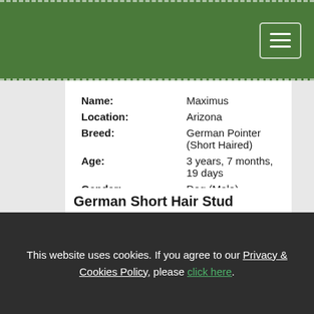Navigation header with hamburger menu button
| Name: | Maximus |
| Location: | Arizona |
| Breed: | German Pointer (Short Haired) |
| Age: | 3 years, 7 months, 19 days |
| Gender: | Dog (Male) |
| Pedigree: | Yes |
Looking to Stud out my Champion lined GSP to another purebred GSP. Details upon request
Read More
This website uses cookies. If you agree to our Privacy & Cookies Policy, please click here.
German Short Hair Stud